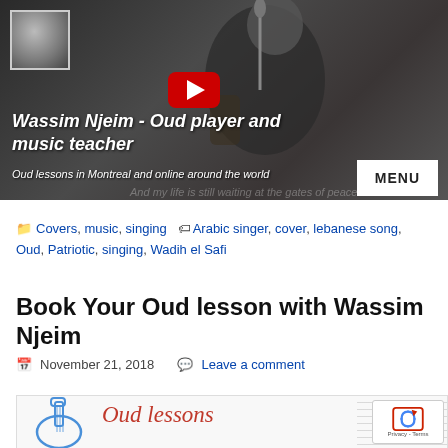[Figure (screenshot): Website header banner for Wassim Njeim - Oud player and music teacher. Dark background with a man playing oud/singing into microphone, small portrait thumbnail top-left, YouTube play button, italic white title text, subtitle text, and a white MENU button.]
Wassim Njeim - Oud player and music teacher
Oud lessons in Montreal and online around the world
Covers, music, singing   Arabic singer, cover, lebanese song, Oud, Patriotic, singing, Wadih el Safi
Book Your Oud lesson with Wassim Njeim
November 21, 2018   Leave a comment
[Figure (illustration): Oud lessons promotional banner with blue oud illustration on left, red cursive 'Oud lessons' text in center, and sheet music graphic on right.]